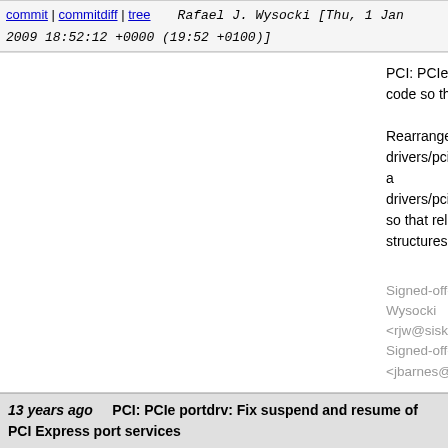commit | commitdiff | tree   Rafael J. Wysocki [Thu, 1 Jan 2009 18:52:12 +0000 (19:52 +0100)]
PCI: PCIe portdrv: Rearrange code so that related...

Rearrange code in drivers/pci/pcie/portdrv_bus.c and drivers/pci/pcie/portdrv_core.c so that related functions and structures are closer together.

Signed-off-by: Rafael J. Wysocki <rjw@sisk.pl>
Signed-off-by: Jesse Barnes <jbarnes@virtuousgeek.org>
13 years ago   PCI: PCIe portdrv: Fix suspend and resume of PCI Express port services
commit | commitdiff | tree   Rafael J. Wysocki [Thu, 1 Jan 2009 18:51:15 +0000 (19:51 +0100)]
PCI: PCIe portdrv: Fix suspend and resume of PC...

There is a problem with the suspend and resume of service devices that the ->suspend() and ->resume() routines of each service device are called twice in each suspend-resume cycle, which is obviously wrong.

The scenario is that first, the PCI Express port driv...